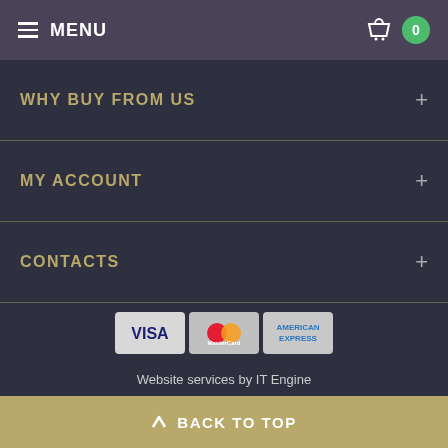MENU  0
WHY BUY FROM US +
MY ACCOUNT +
CONTACTS +
[Figure (logo): Payment method logos: VISA, MasterCard, American Express]
Website services by IT Engine
BACK TO TOP